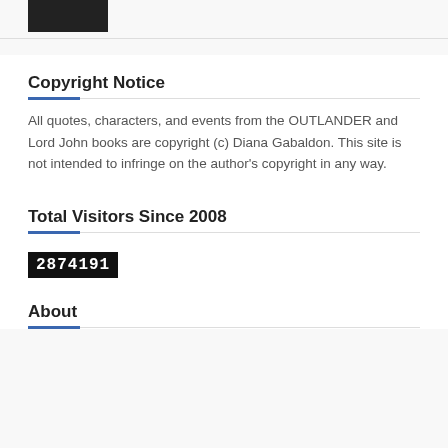[Figure (photo): Partial dark/black image visible at top left corner of page]
Copyright Notice
All quotes, characters, and events from the OUTLANDER and Lord John books are copyright (c) Diana Gabaldon. This site is not intended to infringe on the author's copyright in any way.
Total Visitors Since 2008
2874191
About